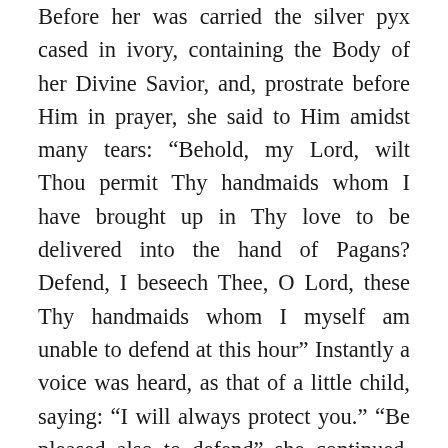Before her was carried the silver pyx cased in ivory, containing the Body of her Divine Savior, and, prostrate before Him in prayer, she said to Him amidst many tears: “Behold, my Lord, wilt Thou permit Thy handmaids whom I have brought up in Thy love to be delivered into the hand of Pagans? Defend, I beseech Thee, O Lord, these Thy handmaids whom I myself am unable to defend at this hour” Instantly a voice was heard, as that of a little child, saying: “I will always protect you.” “Be pleased also to defend” she continued, “this city which is sustaining us for love of Thee.” And the Lord said to her: “The city will be troubled, but shall be defended by My protection, and your intercession.” Then Clare, turning her tearful countenance toward her weeping daughters, consoled them, saying: “I assure you, daughters, that you shall